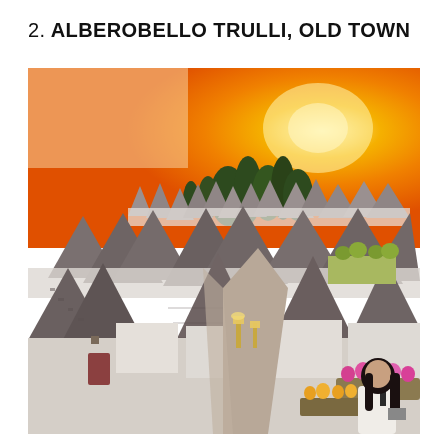2. ALBEROBELLO TRULLI, OLD TOWN
[Figure (photo): Aerial/elevated view of Alberobello trulli houses with their distinctive conical grey stone roofs and white walls at sunset. The sky glows deep orange-yellow. A narrow street runs between the trulli with warm lantern lighting. A woman with dark hair stands in the lower right corner near planters with pink and yellow flowers. Cypress trees are visible in the background against the sunset sky.]